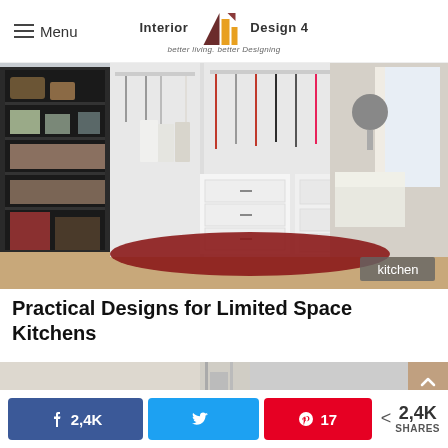Menu | Interior Design 4 — better living. better Designing
[Figure (photo): Walk-in closet with white shelving units filled with clothes, shoes and accessories, with a red rug on the floor and a bedroom visible in the background. A 'kitchen' badge is shown in the bottom right corner.]
Practical Designs for Limited Space Kitchens
[Figure (photo): Partial view of a second interior design image strip at bottom of article]
2,4K  [Twitter share]  17  < 2,4K SHARES